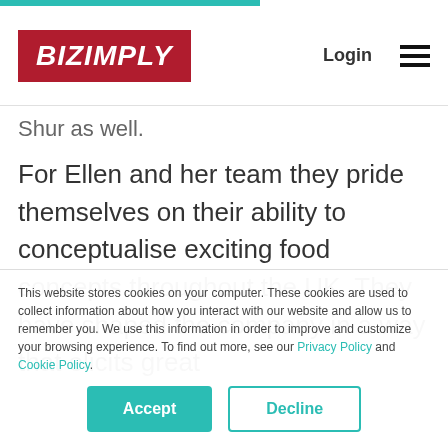BIZIMPLY | Login
Shur as well.
For Ellen and her team they pride themselves on their ability to conceptualise exciting food concepts throughout the UK. They have shaped the company in a way that elicits great
This website stores cookies on your computer. These cookies are used to collect information about how you interact with our website and allow us to remember you. We use this information in order to improve and customize your browsing experience. To find out more, see our Privacy Policy and Cookie Policy.
Accept | Decline